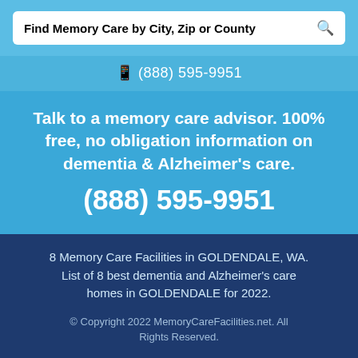Find Memory Care by City, Zip or County
📱 (888) 595-9951
Talk to a memory care advisor. 100% free, no obligation information on dementia & Alzheimer's care. (888) 595-9951
8 Memory Care Facilities in GOLDENDALE, WA. List of 8 best dementia and Alzheimer's care homes in GOLDENDALE for 2022.
© Copyright 2022 MemoryCareFacilities.net. All Rights Reserved.
About Us  |  Contact Us